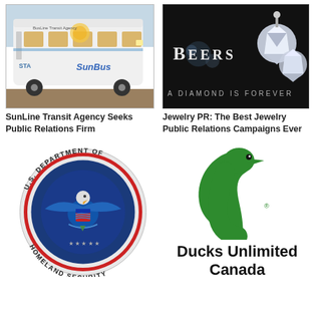[Figure (photo): SunLine Transit Agency bus, white with 'SunBus' branding, parked outdoors]
SunLine Transit Agency Seeks Public Relations Firm
[Figure (photo): De Beers jewelry advertisement — diamond earrings on dark background with text 'BEERS' and 'A DIAMOND IS FOREVER']
Jewelry PR: The Best Jewelry Public Relations Campaigns Ever
[Figure (logo): U.S. Department of Homeland Security official seal — circular badge with eagle, red and blue ring, text around perimeter]
[Figure (logo): Ducks Unlimited Canada logo — green duck head silhouette with 'Ducks Unlimited Canada' text below]